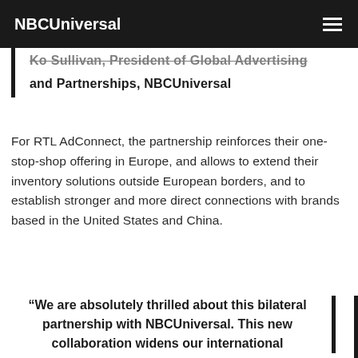NBCUniversal
Ko Sullivan, President of Global Advertising and Partnerships, NBCUniversal
For RTL AdConnect, the partnership reinforces their one-stop-shop offering in Europe, and allows to extend their inventory solutions outside European borders, and to establish stronger and more direct connections with brands based in the United States and China.
“We are absolutely thrilled about this bilateral partnership with NBCUniversal. This new collaboration widens our international